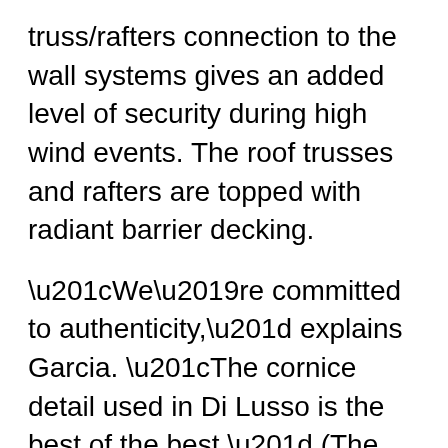truss/rafters connection to the wall systems gives an added level of security during high wind events. The roof trusses and rafters are topped with radiant barrier decking.
“We’re committed to authenticity,” explains Garcia. “The cornice detail used in Di Lusso is the best of the best.” (The cornice system is all the exposed framing detail at the eave where roof meets wall.) “We use 1×6 tongue and groove soffit, cedar frieze board, fascia board and exposed rafter tails in lieu of standard production home components. Solid wood exterior and interior timbers (beams) are sawn and erected for both structural capacity and architectural accuracy. When you see this system in